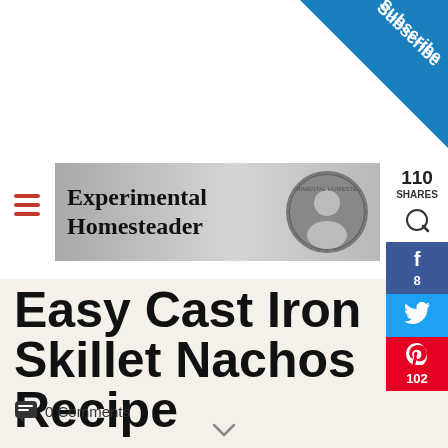[Figure (logo): Subscribe ribbon in top-right corner, blue triangle with 'Subscribe' text]
[Figure (logo): Experimental Homesteader logo banner with site name and circular portrait photo]
[Figure (infographic): Social share sidebar with 110 SHARES, Facebook (8), Twitter, Pinterest (102) buttons]
Easy Cast Iron Skillet Nachos Recipe
0 Comments